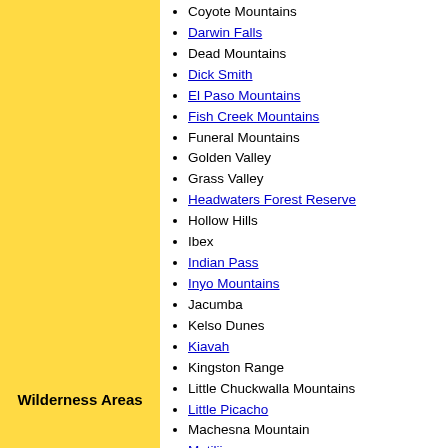Coyote Mountains
Darwin Falls
Dead Mountains
Dick Smith
El Paso Mountains
Fish Creek Mountains
Funeral Mountains
Golden Valley
Grass Valley
Headwaters Forest Reserve
Hollow Hills
Ibex
Indian Pass
Inyo Mountains
Jacumba
Kelso Dunes
Kiavah
Kingston Range
Little Chuckwalla Mountains
Little Picacho
Machesna Mountain
Matilija
Malpais Mesa
Manly Peak
Mecca Hills
Wilderness Areas